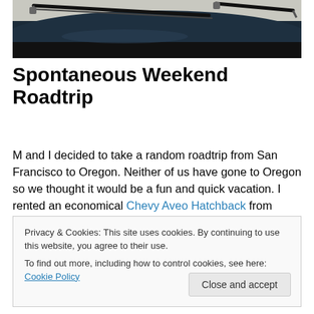[Figure (photo): Close-up view from inside a car showing the dashboard, windshield wipers, and hood of a dark-colored vehicle against a light background.]
Spontaneous Weekend Roadtrip
M and I decided to take a random roadtrip from San Francisco to Oregon. Neither of us have gone to Oregon so we thought it would be a fun and quick vacation. I rented an economical Chevy Aveo Hatchback from Hertz
Privacy & Cookies: This site uses cookies. By continuing to use this website, you agree to their use.
To find out more, including how to control cookies, see here: Cookie Policy
[Close and accept]